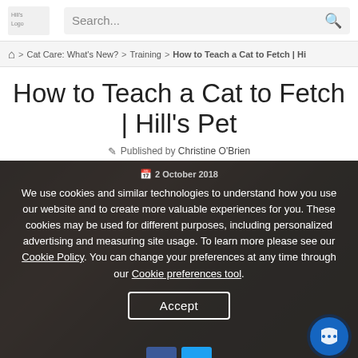Hill's Logo | Search...
Home > Cat Care: What's New? > Training > How to Teach a Cat to Fetch | Hi
How to Teach a Cat to Fetch | Hill's Pet
Published by Christine O'Brien
[Figure (screenshot): Dark overlay cookie consent dialog over a cat image background. Contains date '2 October 2018', cookie policy text, and Accept button.]
We use cookies and similar technologies to understand how you use our website and to create more valuable experiences for you. These cookies may be used for different purposes, including personalized advertising and measuring site usage. To learn more please see our Cookie Policy. You can change your preferences at any time through our Cookie preferences tool.